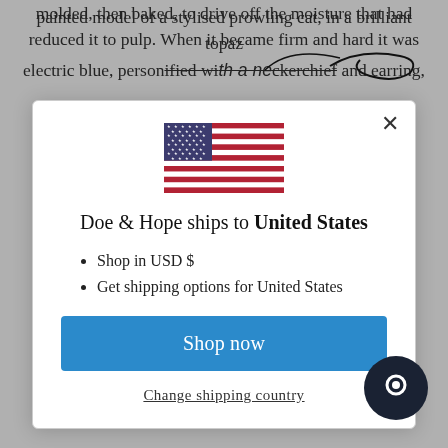painted model of a stylised prowling cat, in a brilliant topaz electric blue, personified with a neckerchief and earring,
[Figure (screenshot): Modal dialog showing US flag, shipping information for Doe & Hope to United States, bullet list with 'Shop in USD $' and 'Get shipping options for United States', a blue 'Shop now' button, and a 'Change shipping country' link. A close (X) button in the top right.]
molded, then baked, to drive off the moisture that had reduced it to pulp. When it became firm and hard it was